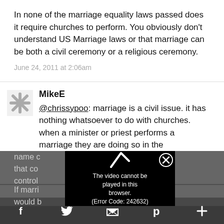In none of the marriage equality laws passed does it require churches to perform. You obviously don't understand US Marriage laws or that marriage can be both a civil ceremony or a religious ceremony.
June 24, 2011 at 2:06am
MikeE
@chrissypoo: marriage is a civil issue. it has nothing whatsoever to do with churches. when a minister or priest performs a marriage they are doing so in the name c[...] bligations that co[...] s. control[...] .). If marri[...] hen there would b[...] ried. it would
[Figure (screenshot): Video error overlay showing play button icon and text: The video cannot be played in this browser. (Error Code: 242632), with an X close button]
f [twitter bird] [envelope] [pinterest] +